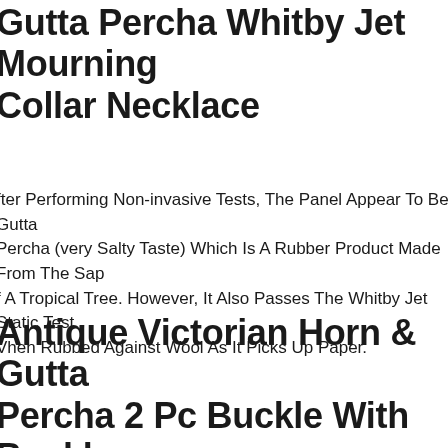Gutta Percha Whitby Jet Mourning Collar Necklace
After Performing Non-invasive Tests, The Panel Appear To Be Gutta Percha (very Salty Taste) Which Is A Rubber Product Made From The Sap Of A Tropical Tree. However, It Also Passes The Whitby Jet Static Test When Rubbed Against Wool As It Picks Up Paper.
Antique Victorian Horn & Gutta Percha 2 Pc Buckle With Buckle Pictorial
Exceptional, Antique Victorian Horn & Gutta Percha 2 Pc Buckle With Buckle Pictorial. Excellent Condition With No Chips, Cracks Or Repairs. Measures 5 Long By 2 14 Tall.
Victorian 1840's/1850's Pin Gutta